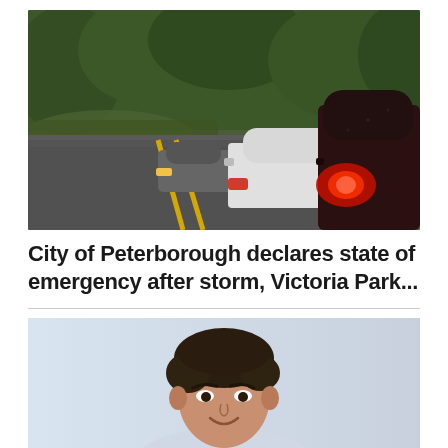[Figure (photo): Cars stopped on a rain-wet road blocked by fallen tree branches after a storm, with dense green trees in background]
City of Peterborough declares state of emergency after storm, Victoria Park...
[Figure (photo): Headshot of a young man with dark wavy hair, smiling slightly, light blurred background]